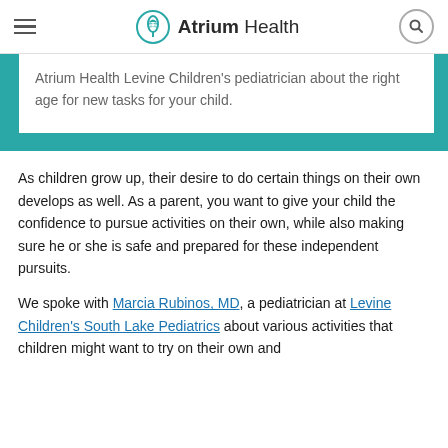Atrium Health
Atrium Health Levine Children's pediatrician about the right age for new tasks for your child.
As children grow up, their desire to do certain things on their own develops as well. As a parent, you want to give your child the confidence to pursue activities on their own, while also making sure he or she is safe and prepared for these independent pursuits.
We spoke with Marcia Rubinos, MD, a pediatrician at Levine Children's South Lake Pediatrics about various activities that children might want to try on their own and